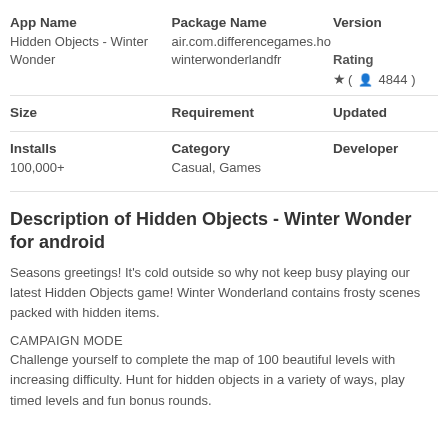| App Name | Package Name | Version |
| --- | --- | --- |
| Hidden Objects - Winter Wonder | air.com.differencegames.howinterwonderlandfr |  |
|  | Rating |  |
|  | ★ ( 👤 4844 ) |  |
| Size | Requirement | Updated |
| --- | --- | --- |
| Installs | Category | Developer |
| --- | --- | --- |
| 100,000+ | Casual, Games |  |
Description of Hidden Objects - Winter Wonder for android
Seasons greetings! It's cold outside so why not keep busy playing our latest Hidden Objects game! Winter Wonderland contains frosty scenes packed with hidden items.
CAMPAIGN MODE
Challenge yourself to complete the map of 100 beautiful levels with increasing difficulty. Hunt for hidden objects in a variety of ways, play timed levels and fun bonus rounds.